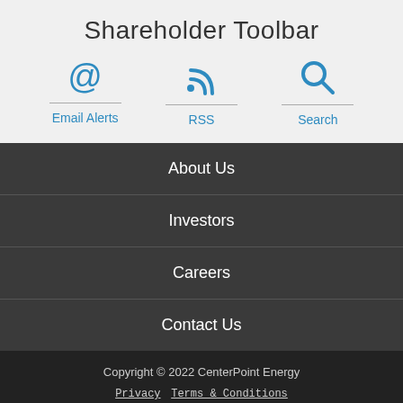Shareholder Toolbar
[Figure (infographic): Three icons in a row: Email Alerts (@ symbol), RSS (wifi/signal symbol), Search (magnifying glass) each with a divider line and label below, in blue color on light gray background]
About Us
Investors
Careers
Contact Us
Copyright © 2022 CenterPoint Energy  Privacy  Terms & Conditions